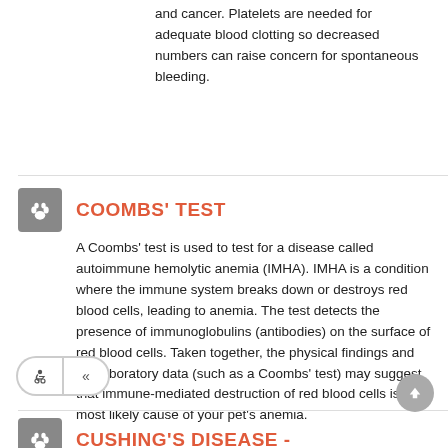and cancer. Platelets are needed for adequate blood clotting so decreased numbers can raise concern for spontaneous bleeding.
COOMBS' TEST
A Coombs' test is used to test for a disease called autoimmune hemolytic anemia (IMHA). IMHA is a condition where the immune system breaks down or destroys red blood cells, leading to anemia. The test detects the presence of immunoglobulins (antibodies) on the surface of red blood cells. Taken together, the physical findings and the laboratory data (such as a Coombs' test) may suggest that immune-mediated destruction of red blood cells is the most likely cause of your pet's anemia.
CUSHING'S DISEASE -